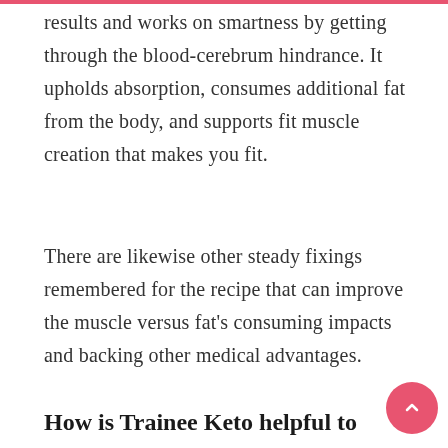results and works on smartness by getting through the blood-cerebrum hindrance. It upholds absorption, consumes additional fat from the body, and supports fit muscle creation that makes you fit.
There are likewise other steady fixings remembered for the recipe that can improve the muscle versus fat's consuming impacts and backing other medical advantages.
How is Trainee Keto helpful to